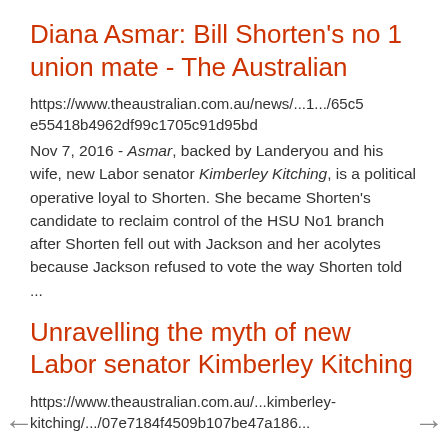Diana Asmar: Bill Shorten's no 1 union mate - The Australian
https://www.theaustralian.com.au/news/...1.../65c5e55418b4962df99c1705c91d95bd
Nov 7, 2016 - Asmar, backed by Landeryou and his wife, new Labor senator Kimberley Kitching, is a political operative loyal to Shorten. She became Shorten's candidate to reclaim control of the HSU No1 branch after Shorten fell out with Jackson and her acolytes because Jackson refused to vote the way Shorten told ...
Unravelling the myth of new Labor senator Kimberley Kitching
https://www.theaustralian.com.au/...kimberley-kitching/.../07e7184f4509b107be47a186...